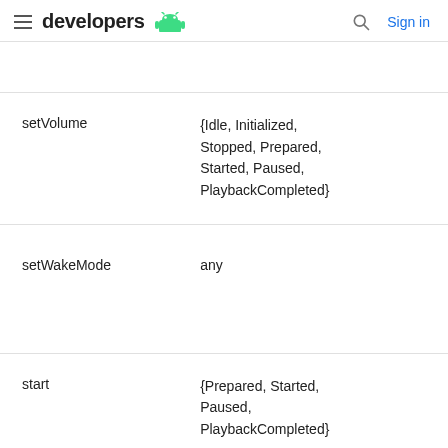developers
| setVolume | {Idle, Initialized, Stopped, Prepared, Started, Paused, PlaybackCompleted} |
| setWakeMode | any |
| start | {Prepared, Started, Paused, PlaybackCompleted} |